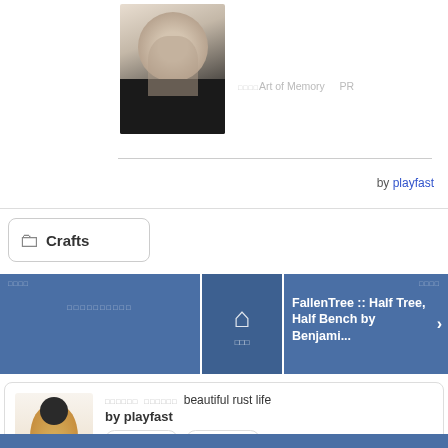[Figure (photo): Profile photo of a woman with short brown hair wearing a black top, smiling]
□□□□Art of Memory   PR
by playfast
📁 Crafts
[Figure (other): Blue tile with Japanese text label and blurred Japanese text content]
[Figure (other): Blue tile with a house icon and Japanese text below]
[Figure (other): Blue tile with text: FallenTree :: Half Tree, Half Bench by Benjami... with arrow]
[Figure (photo): Illustration of a woman in a floral kimono dress]
□□□□□□ □□□□□□ beautiful rust life
by playfast
□□□□□□□□□□
□□□□□□□□□□
[Figure (logo): Twitter bird logo blue circle button]